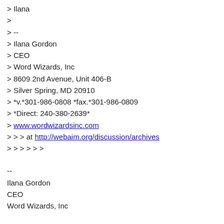> Ilana
>
> --
> Ilana Gordon
> CEO
> Word Wizards, Inc
> 8609 2nd Avenue, Unit 406-B
> Silver Spring, MD 20910
> *v.*301-986-0808 *fax.*301-986-0809
> *Direct: 240-380-2639*
> www.wordwizardsinc.com
> > > at http://webaim.org/discussion/archives
> > > > > >
--
Ilana Gordon
CEO
Word Wizards, Inc